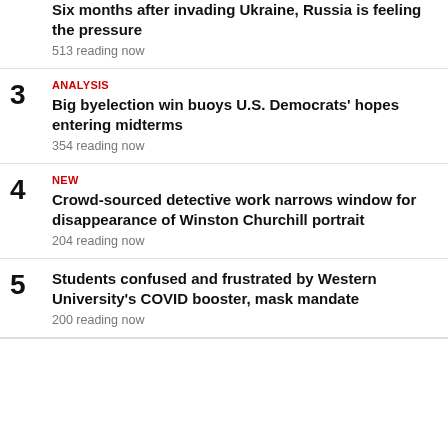Six months after invading Ukraine, Russia is feeling the pressure
513 reading now
ANALYSIS
Big byelection win buoys U.S. Democrats' hopes entering midterms
354 reading now
NEW
Crowd-sourced detective work narrows window for disappearance of Winston Churchill portrait
204 reading now
Students confused and frustrated by Western University's COVID booster, mask mandate
200 reading now